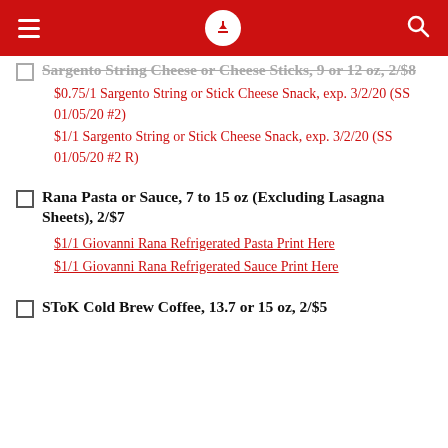Sargento String Cheese or Cheese Sticks, 9 or 12 oz, 2/$8 — $0.75/1 Sargento String or Stick Cheese Snack, exp. 3/2/20 (SS 01/05/20 #2) | $1/1 Sargento String or Stick Cheese Snack, exp. 3/2/20 (SS 01/05/20 #2 R)
Rana Pasta or Sauce, 7 to 15 oz (Excluding Lasagna Sheets), 2/$7 — $1/1 Giovanni Rana Refrigerated Pasta Print Here | $1/1 Giovanni Rana Refrigerated Sauce Print Here
SToK Cold Brew Coffee, 13.7 or 15 oz, 2/$5